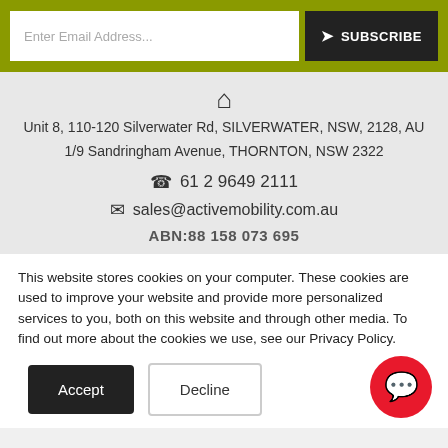[Figure (screenshot): Email subscription bar with olive/green background, text input for email address, and dark Subscribe button]
Unit 8, 110-120 Silverwater Rd, SILVERWATER, NSW, 2128, AU
1/9 Sandringham Avenue, THORNTON, NSW 2322
61 2 9649 2111
sales@activemobility.com.au
ABN:88 158 073 695
This website stores cookies on your computer. These cookies are used to improve your website and provide more personalized services to you, both on this website and through other media. To find out more about the cookies we use, see our Privacy Policy.